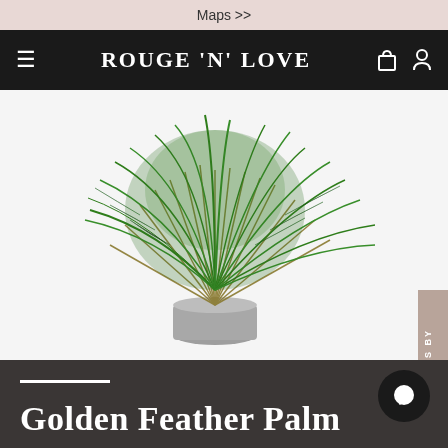Maps >>
[Figure (logo): ROUGE 'N' LOVE navigation bar with hamburger menu icon, logo text, bag icon, and person icon on dark background]
[Figure (photo): Golden Feather Palm plant in a grey pot on a white background, with a 'REWARDS BY ROUGE' tab on the right side]
Golden Feather Palm